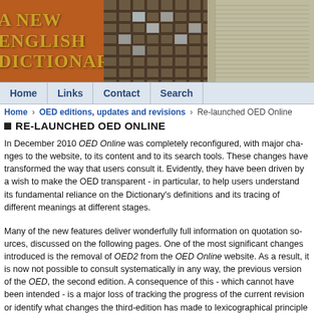[Figure (photo): Three side-by-side header images: left shows golden text 'A NEW ENGLISH DICTIONARY' on a red/brown background; center shows a wooden type tray with slots; right shows a close-up of dictionary pages.]
Home | Links | Contact | Search
Home › OED editions, updates and revisions › Re-launched OED Online
RE-LAUNCHED OED ONLINE
In December 2010 OED Online was completely reconfigured, with major changes to the website, to its content and to its search tools. These changes have transformed the way that users consult it. Evidently, they have been driven by a wish to make the OED transparent - in particular, to help users understand its fundamental reliance on the Dictionary's definitions and its tracing of different meanings at different stages.
Many of the new features deliver wonderfully full information on quotation sources, discussed on the following pages. One of the most significant changes introduced is the removal of OED2 from the OED Online website. As a result, it is now not possible to consult systematically in any way, the previous version of the OED, the second edition. A consequence of this - which cannot have been intended - is a major loss of the ability to track the progress of the current revision or identify what changes the third-edition has made to lexicographical principle and practice.
No full account appears on the website itself (there is a summary notice of the relaunch at http://www.oed.com/public/welcome/welcome-to-the-new-oed-online/).